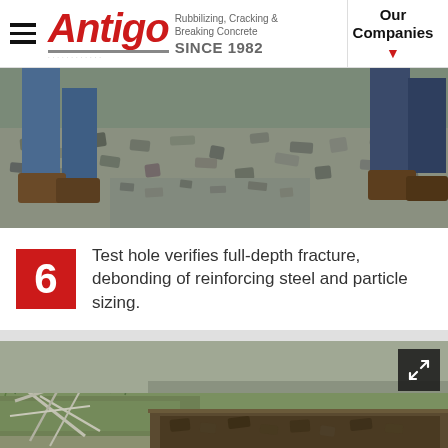Antigo — Rubbilizing, Cracking & Breaking Concrete SINCE 1982 | Our Companies
[Figure (photo): Close-up of two workers' legs standing on freshly rubblized concrete, wearing boots and work pants. The broken concrete surface is visible between and around their feet.]
6  Test hole verifies full-depth fracture, debonding of reinforcing steel and particle sizing.
[Figure (photo): Outdoor scene showing a test hole dug beside rubblized concrete, revealing the depth of fracture. Metal rebar pieces and grass are visible along the edge. An expand/fullscreen icon is in the top-right corner.]